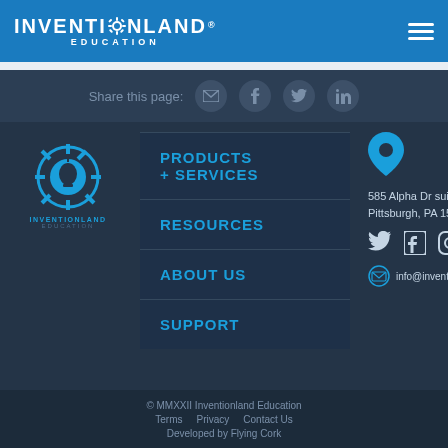INVENTIONLAND EDUCATION
Share this page:
PRODUCTS + SERVICES
RESOURCES
ABOUT US
SUPPORT
585 Alpha Dr suite 104
Pittsburgh, PA 15238
info@inventionlandedu.com
© MMXXII Inventionland Education
Terms   Privacy   Contact Us
Developed by Flying Cork